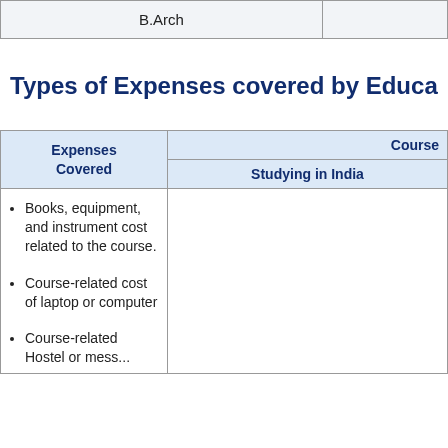| B.Arch |  |
| --- | --- |
Types of Expenses covered by Educa
| Expenses Covered | Course | Studying in India |
| --- | --- | --- |
| • Books, equipment, and instrument cost related to the course.
• Course-related cost of laptop or computer
• Course-related Hostel or mess... |  |